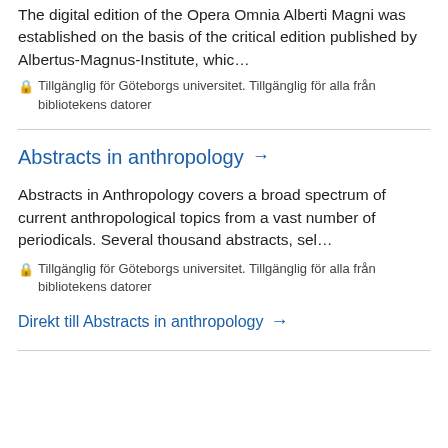The digital edition of the Opera Omnia Alberti Magni was established on the basis of the critical edition published by Albertus-Magnus-Institute, whic…
🔒 Tillgänglig för Göteborgs universitet. Tillgänglig för alla från bibliotekens datorer
Abstracts in anthropology →
Abstracts in Anthropology covers a broad spectrum of current anthropological topics from a vast number of periodicals. Several thousand abstracts, sel…
🔒 Tillgänglig för Göteborgs universitet. Tillgänglig för alla från bibliotekens datorer
Direkt till Abstracts in anthropology →